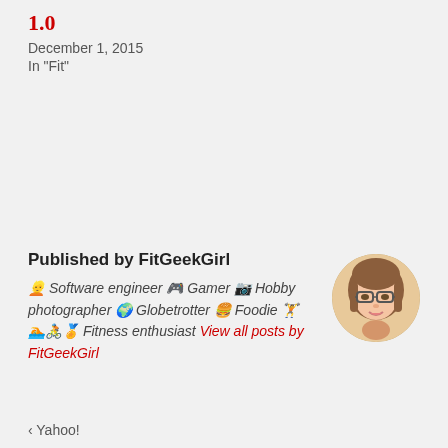1.0
December 1, 2015
In "Fit"
Published by FitGeekGirl 👱 Software engineer 🎮 Gamer 📷 Hobby photographer 🌍 Globetrotter 🍔 Foodie 🏋 🏊🚴🏅 Fitness enthusiast View all posts by FitGeekGirl
[Figure (illustration): Circular avatar of FitGeekGirl, a cartoon-style illustration of a woman with brown hair and glasses]
< Yahoo!